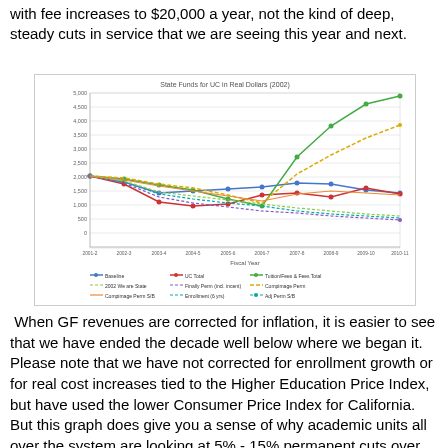with fee increases to $20,000 a year, not the kind of deep, steady cuts in service that we are seeing this year and next.
[Figure (line-chart): Multi-line chart showing State Funds for UC in Real Dollars (2002 base) across fiscal years 2001-2 through 2010-11, with multiple series including General Fund, UC Total, and various other funding/enrollment-adjusted lines. Some lines trend down then partially recover, one line (green) rises sharply at the end.]
When GF revenues are corrected for inflation, it is easier to see that we have ended the decade well below where we began it.  Please note that we have not corrected for enrollment growth or for real cost increases tied to the Higher Education Price Index, but have used the lower Consumer Price Index for California.  But this graph does give you a sense of why academic units all over the system are looking at 5% - 15% permanent cuts over this year and next, with no end in sight.